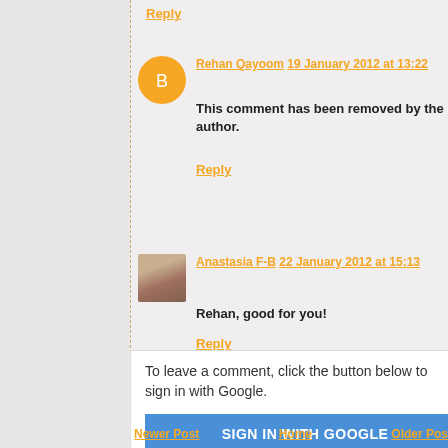Reply
Rehan Qayoom  19 January 2012 at 13:22
This comment has been removed by the author.
Reply
Anastasia F-B  22 January 2012 at 15:13
Rehan, good for you!
Reply
To leave a comment, click the button below to sign in with Google.
SIGN IN WITH GOOGLE
Newer Post  Home  Older Post